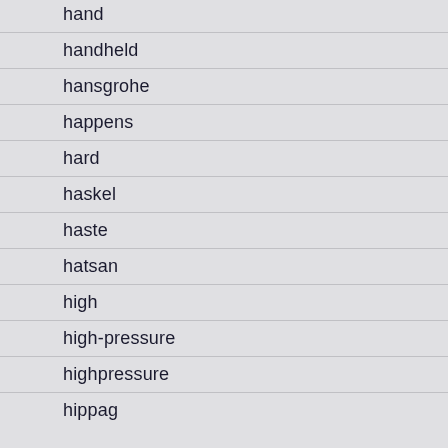hand
handheld
hansgrohe
happens
hard
haskel
haste
hatsan
high
high-pressure
highpressure
hippag